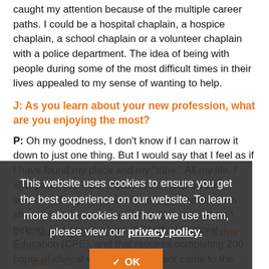caught my attention because of the multiple career paths. I could be a hospital chaplain, a hospice chaplain, a school chaplain or a volunteer chaplain with a police department. The idea of being with people during some of the most difficult times in their lives appealed to my sense of wanting to help.
J: As you learn about your new profession, what are you enjoying the most?
P: Oh my goodness, I don't know if I can narrow it down to just one thing. But I would say that I feel as if I have found my place and my "tribe." All my life, I always felt like I didn't quite fit in; I was on the outskirts. The journey in becoming a chaplain has shown me where my passion truly is and where I belong. I had to do a unit of Certified Pastoral Education (CPE), and that requires completing 200 hours of clinical work. My supervisor came to the hospital one day to have lunch with me and when I met her in the lobby, she seemed taken aback. At first, I thought something was wrong. But she smiled and said, "You fit. You belong here. It shows!"
This website uses cookies to ensure you get the best experience on our website. To learn more about cookies and how we use them, please view our privacy policy.
J: What do you see for yourself a little farther down the path? What would you like to do in future...